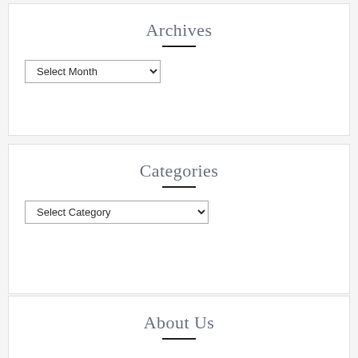Archives
[Figure (screenshot): A dropdown select control labeled 'Select Month']
Categories
[Figure (screenshot): A dropdown select control labeled 'Select Category']
About Us